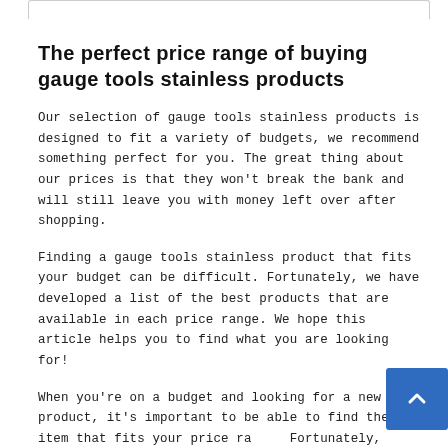The perfect price range of buying gauge tools stainless products
Our selection of gauge tools stainless products is designed to fit a variety of budgets, we recommend something perfect for you. The great thing about our prices is that they won't break the bank and will still leave you with money left over after shopping.
Finding a gauge tools stainless product that fits your budget can be difficult. Fortunately, we have developed a list of the best products that are available in each price range. We hope this article helps you to find what you are looking for!
When you're on a budget and looking for a new product, it's important to be able to find the item that fits your price range. Fortunately, we've got just what you need! Our suggested gauge tools stainless products are designed with affordability in mind and come in all sorts of different sizes and styles.